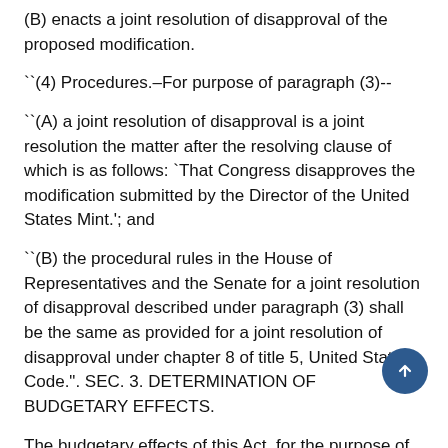(B) enacts a joint resolution of disapproval of the proposed modification.
``(4) Procedures.–For purpose of paragraph (3)--
``(A) a joint resolution of disapproval is a joint resolution the matter after the resolving clause of which is as follows: `That Congress disapproves the modification submitted by the Director of the United States Mint.'; and
``(B) the procedural rules in the House of Representatives and the Senate for a joint resolution of disapproval described under paragraph (3) shall be the same as provided for a joint resolution of disapproval under chapter 8 of title 5, United States Code.". SEC. 3. DETERMINATION OF BUDGETARY EFFECTS.
The budgetary effects of this Act, for the purpose of